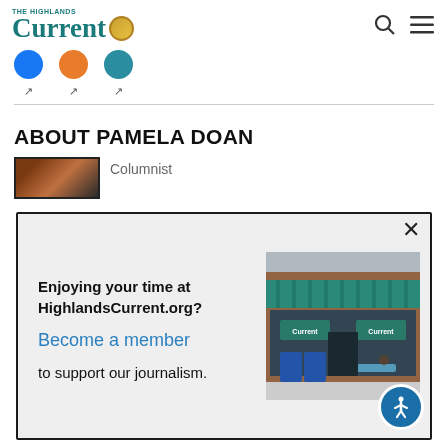The Highlands Current
Columnist
ABOUT PAMELA DOAN
Enjoying your time at HighlandsCurrent.org? Become a member to support our journalism.
[Figure (photo): Storefront of The Highlands Current newspaper office with teal awning and blue newspaper boxes outside]